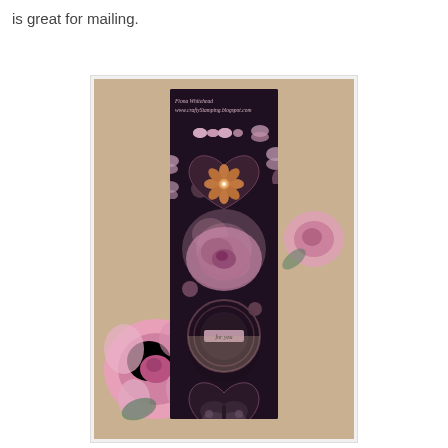is great for mailing.
[Figure (photo): A decorative handmade card strip/bookmark featuring floral and butterfly designs. The card shows text reading 'Fiona Whitehead www.craftyStamping.blogspot.com' at the top, with butterfly embellishments, heart shapes, flower motifs, pink roses, and a 'for you' tag in the middle. The card is shown against a tan/beige background with pink roses scattered around.]